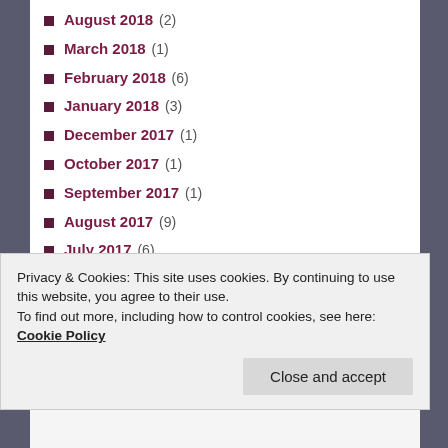August 2018 (2)
March 2018 (1)
February 2018 (6)
January 2018 (3)
December 2017 (1)
October 2017 (1)
September 2017 (1)
August 2017 (9)
July 2017 (6)
June 2017 (4)
May 2017 (4)
April 2017 (6)
March 2017 (1)
February 2017 (2)
Privacy & Cookies: This site uses cookies. By continuing to use this website, you agree to their use. To find out more, including how to control cookies, see here: Cookie Policy